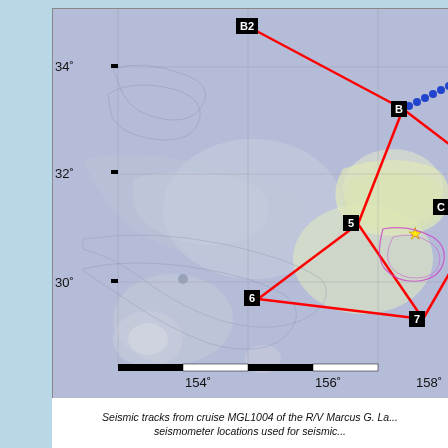[Figure (map): Bathymetric map showing seismic tracks from cruise MGL1004 of the R/V Marcus G. Langseth. The map shows ocean floor topography in the Pacific Ocean region between approximately 30°-34° N latitude and 154°-158°+ E longitude. Red lines show cruise tracks connecting numbered waypoints (5, 6, 7, B2, B). A dashed blue/orange line runs along the top right portion. A yellow star marks a location near 31.5°N, 158°E. Pink/magenta contour lines appear on the right side. Labels B2, B, 5, 6, 7, C are shown in black boxes.]
Seismic tracks from cruise MGL1004 of the R/V Marcus G. La... seismometer locations used for seismic...